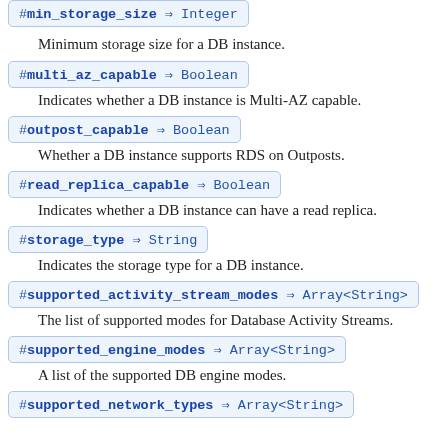#min_storage_size ⇒ Integer
Minimum storage size for a DB instance.
#multi_az_capable ⇒ Boolean
Indicates whether a DB instance is Multi-AZ capable.
#outpost_capable ⇒ Boolean
Whether a DB instance supports RDS on Outposts.
#read_replica_capable ⇒ Boolean
Indicates whether a DB instance can have a read replica.
#storage_type ⇒ String
Indicates the storage type for a DB instance.
#supported_activity_stream_modes ⇒ Array<String>
The list of supported modes for Database Activity Streams.
#supported_engine_modes ⇒ Array<String>
A list of the supported DB engine modes.
#supported_network_types ⇒ Array<String>